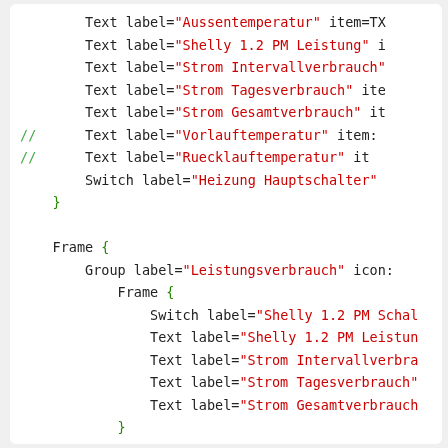Code snippet showing OpenHAB sitemap configuration with Text, Switch, Frame, and Group elements